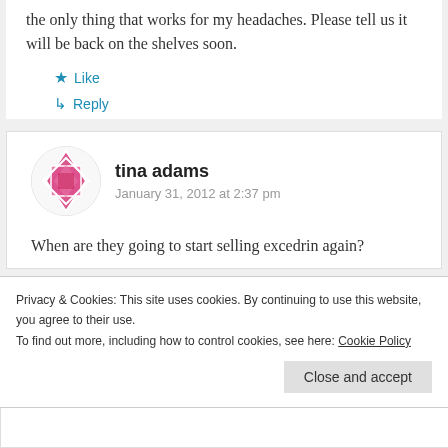the only thing that works for my headaches. Please tell us it will be back on the shelves soon.
Like
Reply
tina adams
January 31, 2012 at 2:37 pm
When are they going to start selling excedrin again?
Privacy & Cookies: This site uses cookies. By continuing to use this website, you agree to their use. To find out more, including how to control cookies, see here: Cookie Policy
Close and accept